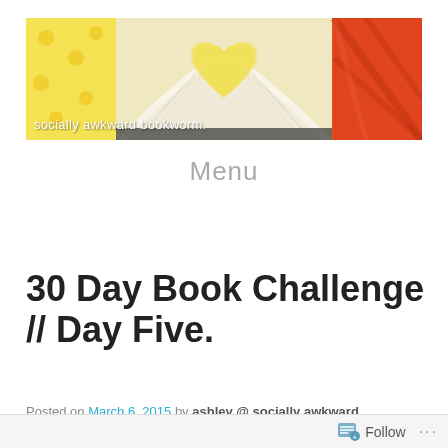[Figure (photo): Header image for blog 'socially awkward bookworm' showing an open book with pages folded into a heart shape, colorful fabric/pattern backgrounds in yellow, orange, and red tones. White text overlay reads 'socially awkward bookworm.']
Menu
30 Day Book Challenge // Day Five.
Posted on March 6, 2015 by ashley @ socially awkward
Follow ...